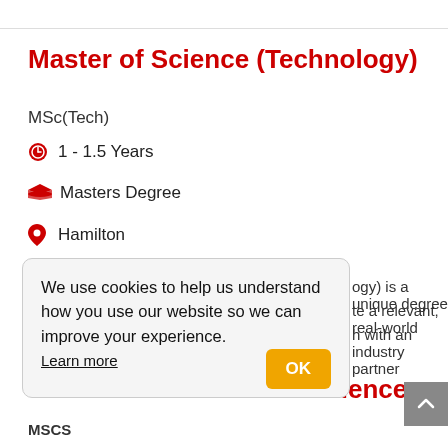Master of Science (Technology)
MSc(Tech)
1 - 1.5 Years
Masters Degree
Hamilton
[Figure (screenshot): Cookie consent banner with text 'We use cookies to help us understand how you use our website so we can improve your experience. Learn more' and an OK button]
Crime Science
MSCS